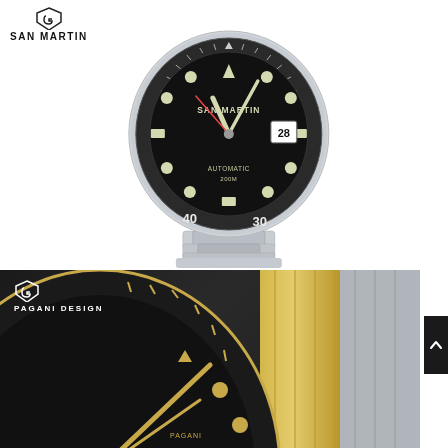[Figure (photo): San Martin logo with shield icon above text, positioned top left]
[Figure (photo): San Martin dive watch with black bezel, black dial showing SAN MARTIN text, AUTOMATIC 200M, date window at 3 o'clock showing 28, luminous markers, on stainless steel oyster bracelet]
[Figure (photo): Pagani Design advertisement banner with dark background showing close-up of a dive watch with black ceramic bezel with gold numerals (50 visible), black dial with gold indices, on two-tone gold and silver oyster bracelet. Pagani Design logo with shield icon visible top left.]
[Figure (photo): Dark square button with upward chevron/caret arrow icon on right side]